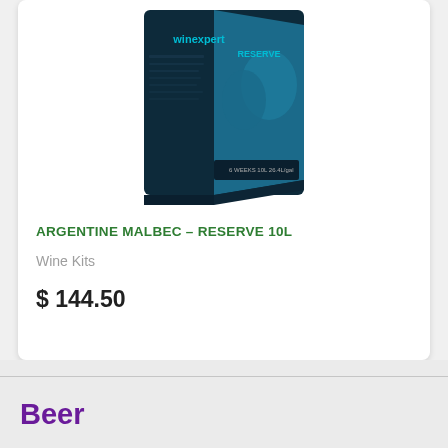[Figure (photo): Winexpert Reserve wine kit box with dark blue/teal packaging showing people celebrating, labeled 6 weeks 10L 26.4L etc.]
ARGENTINE MALBEC – RESERVE 10L
Wine Kits
$ 144.50
Beer